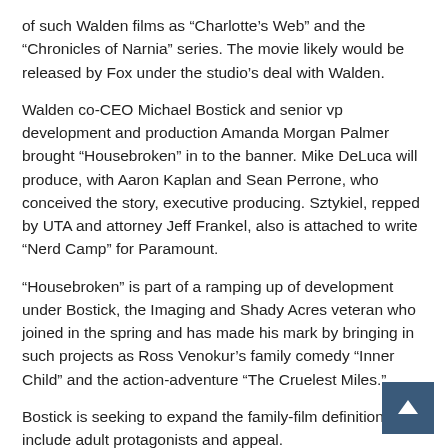of such Walden films as “Charlotte’s Web” and the “Chronicles of Narnia” series. The movie likely would be released by Fox under the studio’s deal with Walden.
Walden co-CEO Michael Bostick and senior vp development and production Amanda Morgan Palmer brought “Housebroken” in to the banner. Mike DeLuca will produce, with Aaron Kaplan and Sean Perrone, who conceived the story, executive producing. Sztykiel, repped by UTA and attorney Jeff Frankel, also is attached to write “Nerd Camp” for Paramount.
“Housebroken” is part of a ramping up of development under Bostick, the Imaging and Shady Acres veteran who joined in the spring and has made his mark by bringing in such projects as Ross Venokur’s family comedy “Inner Child” and the action-adventure “The Cruelest Miles.”
Bostick is seeking to expand the family-film definition to include adult protagonists and appeal.